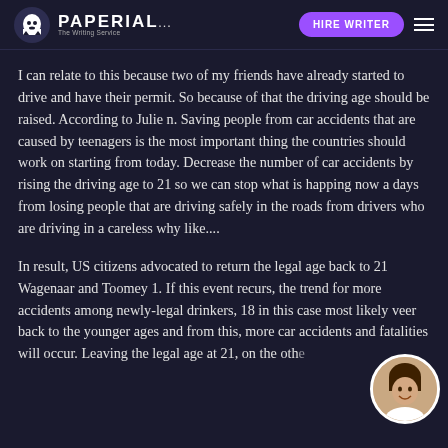PAPERIAL... | HIRE WRITER
I can relate to this because two of my friends have already started to drive and have their permit. So because of that the driving age should be raised. According to Julie n. Saving people from car accidents that are caused by teenagers is the most important thing the countries should work on starting from today. Decrease the number of car accidents by rising the driving age to 21 so we can stop what is happing now a days from losing people that are driving safely in the roads from drivers who are driving in a careless why like....
In result, US citizens advocated to return the legal age back to 21 Wagenaar and Toomey 1. If this event recurs, the trend for more accidents among newly-legal drinkers, 18 in this case most likely veer back to the younger ages and from this, more car accidents and fatalities will occur. Leaving the legal age at 21, on the other